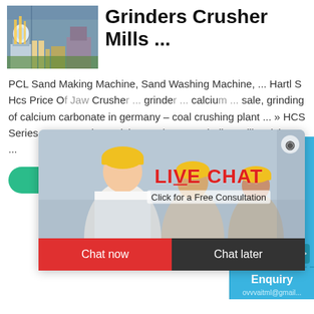[Figure (photo): Industrial machinery/mill equipment at a plant facility]
Carbonate Grinders Crusher Mills ...
PCL Sand Making Machine, Sand Washing Machine, ... Hartl S Hcs Price Of Jaw Crusher ... grinder ... calcium ... sale, grinding of calcium carbonate in germany – coal crushing plant ... » HCS Series Cone Crusher calcium carbonate grinding mill, calcium ...
[Figure (photo): Live chat popup with workers in hard hats, Live Chat title in red, Click for a Free Consultation, Chat now and Chat later buttons]
[Figure (photo): Right sidebar with hour online label, cone crusher machine image, Click me to chat button, Enquiry section, email address]
Click me to chat>>
Enquiry
ovvvaitml@gmail...